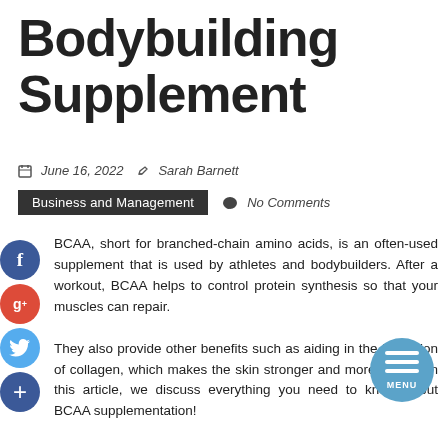Bodybuilding Supplement
June 16, 2022   Sarah Barnett
Business and Management   No Comments
BCAA, short for branched-chain amino acids, is an often-used supplement that is used by athletes and bodybuilders. After a workout, BCAA helps to control protein synthesis so that your muscles can repair.
They also provide other benefits such as aiding in the formation of collagen, which makes the skin stronger and more elastic. In this article, we discuss everything you need to know about BCAA supplementation!